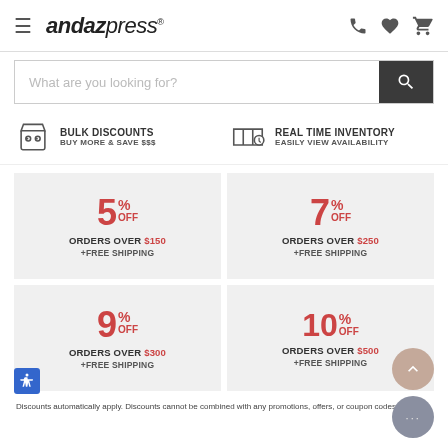[Figure (logo): Andaz Press logo with hamburger menu icon]
[Figure (screenshot): Search bar with placeholder text 'What are you looking for?' and dark search button]
BULK DISCOUNTS BUY MORE & SAVE $$$
REAL TIME INVENTORY EASILY VIEW AVAILABILITY
5% OFF ORDERS OVER $150 +FREE SHIPPING
7% OFF ORDERS OVER $250 +FREE SHIPPING
9% OFF ORDERS OVER $300 +FREE SHIPPING
10% OFF ORDERS OVER $500 +FREE SHIPPING
Discounts automatically apply. Discounts cannot be combined with any promotions, offers, or coupon codes.